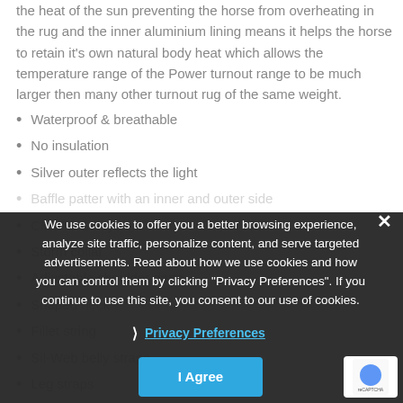the heat of the sun preventing the horse from overheating in the rug and the inner aluminium lining means it helps the horse to retain it's own natural body heat which allows the temperature range of the Power turnout range to be much larger then many other turnout rug of the same weight.
Waterproof & breathable
No insulation
Silver outer reflects the light
Baffle patter with an inner and outer side
Click-N-Go system
Storm collar
Adjustable shoulder darts
Shaped neck
Fillet string
Sil-Web belly straps
Leg straps
Tail flap
Fillet string
Reflective strips on tail, chest and lower
Attachment points for a 620mm neck
We use cookies to offer you a better browsing experience, analyze site traffic, personalize content, and serve targeted advertisements. Read about how we use cookies and how you can control them by clicking "Privacy Preferences". If you continue to use this site, you consent to our use of cookies.
Privacy Preferences
I Agree